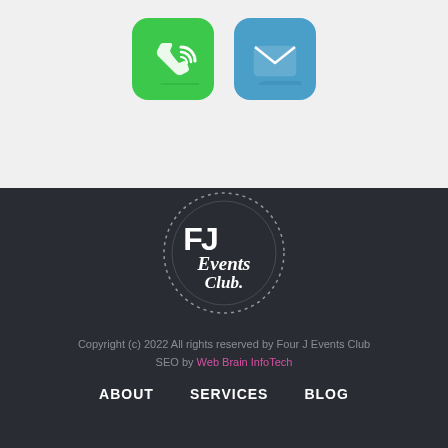[Figure (illustration): Two app-style icon buttons side by side: a green phone/call icon and a blue email/envelope icon]
[Figure (logo): FJ Events Club circular logo with dotted border on dark background, white text reading FJ Events Club in script]
Copyright (c) 2022 All rights reserved by Four J Events Club
SEO by Web Brain InfoTech
ABOUT
SERVICES
BLOG